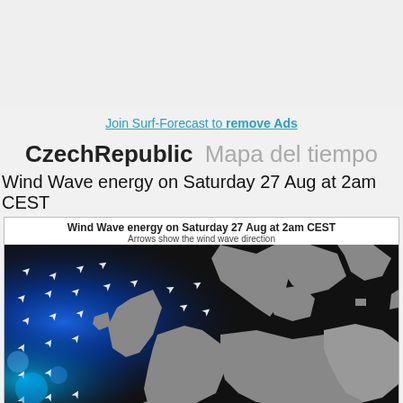Join Surf-Forecast to remove Ads
CzechRepublic Mapa del tiempo
Wind Wave energy on Saturday 27 Aug at 2am CEST
[Figure (map): Wind Wave energy map of Europe showing Saturday 27 Aug at 2am CEST. The map shows wind wave energy with blue/bright areas in the Atlantic indicating high energy and arrows showing wind wave direction. Continental Europe and the British Isles are visible in gray/black.]